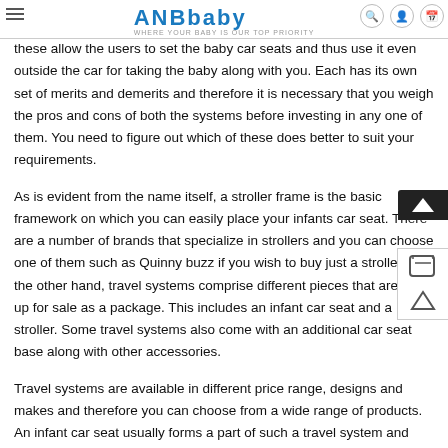ANBbaby - WHERE YOUR BABY IS OUR TOP PRIORITY
these allow the users to set the baby car seats and thus use it even outside the car for taking the baby along with you. Each has its own set of merits and demerits and therefore it is necessary that you weigh the pros and cons of both the systems before investing in any one of them. You need to figure out which of these does better to suit your requirements.
As is evident from the name itself, a stroller frame is the basic framework on which you can easily place your infants car seat. There are a number of brands that specialize in strollers and you can choose one of them such as Quinny buzz if you wish to buy just a stroller. On the other hand, travel systems comprise different pieces that are put up for sale as a package. This includes an infant car seat and a stroller. Some travel systems also come with an additional car seat base along with other accessories.
Travel systems are available in different price range, designs and makes and therefore you can choose from a wide range of products. An infant car seat usually forms a part of such a travel system and